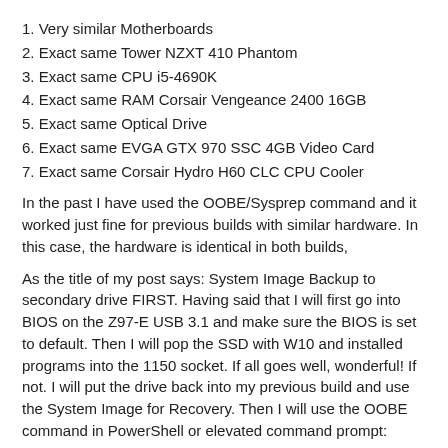1. Very similar Motherboards
2. Exact same Tower NZXT 410 Phantom
3. Exact same CPU i5-4690K
4. Exact same RAM Corsair Vengeance 2400 16GB
5. Exact same Optical Drive
6. Exact same EVGA GTX 970 SSC 4GB Video Card
7. Exact same Corsair Hydro H60 CLC CPU Cooler
In the past I have used the OOBE/Sysprep command and it worked just fine for previous builds with similar hardware. In this case, the hardware is identical in both builds,
As the title of my post says: System Image Backup to secondary drive FIRST. Having said that I will first go into BIOS on the Z97-E USB 3.1 and make sure the BIOS is set to default. Then I will pop the SSD with W10 and installed programs into the 1150 socket. If all goes well, wonderful! If not. I will put the drive back into my previous build and use the System Image for Recovery. Then I will use the OOBE command in PowerShell or elevated command prompt:
%windir%\system32\sysprep\sysprep.exe /generalize /oobe /shutdown